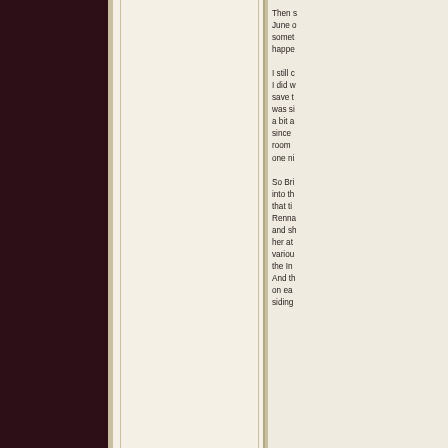Then s June o somet happe I still c I did w save t was si a bit a since room  one ni So Bri into th that ti Renna and sh her at variou the In And th on ea siding